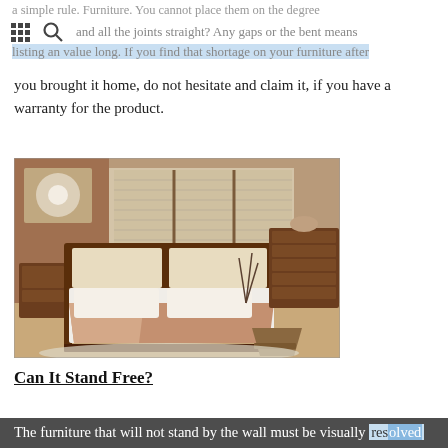a simple rule. Furniture. You cannot place them on the degree listing an value time, if you find that shortage on your furniture after
you brought it home, do not hesitate and claim it, if you have a warranty for the product.
[Figure (photo): A bedroom interior with a dark wood bed frame and matching furniture, including a nightstand and dresser. Large windows with horizontal blinds are in the background. A decorative wall piece hangs above the bed. A woven basket sits on the floor to the right.]
Can It Stand Free?
The furniture that will not stand by the wall must be visually resolved